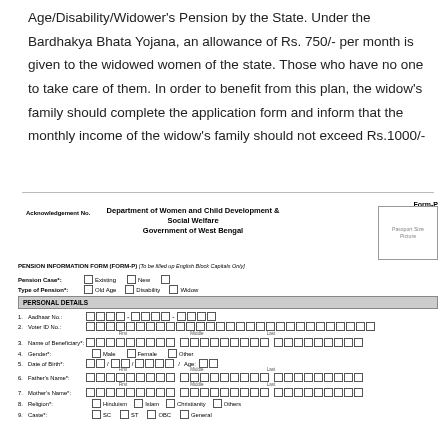Age/Disability/Widower's Pension by the State. Under the Bardhakya Bhata Yojana, an allowance of Rs. 750/- per month is given to the widowed women of the state. Those who have no one to take care of them. In order to benefit from this plan, the widow's family should complete the application form and inform that the monthly income of the widow's family should not exceed Rs.1000/-
[Figure (other): Pension Information Form (Form-P) from Department of Women and Child Development & Social Welfare, Government of West Bengal. Contains fields for Acknowledgement No., Pension Case (Existing/New), Type of Pension (Old Age/Disability/Widow), Personal Details including Aadhaar No., Voter ID No., Name of Beneficiary, Gender, Date of Birth, Father's Name, Mother's Name, Religion, Caste, passport size photo box.]